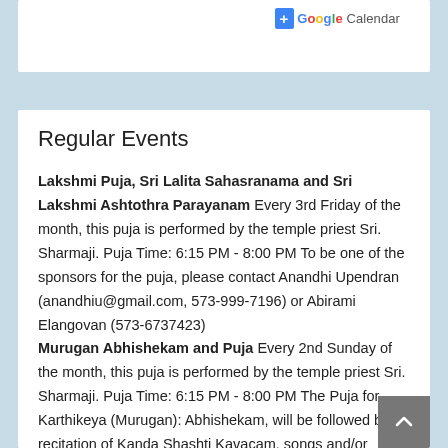[Figure (screenshot): Google Calendar button with blue plus icon]
Regular Events
Lakshmi Puja, Sri Lalita Sahasranama and Sri Lakshmi Ashtothra Parayanam Every 3rd Friday of the month, this puja is performed by the temple priest Sri. Sharmaji. Puja Time: 6:15 PM - 8:00 PM To be one of the sponsors for the puja, please contact Anandhi Upendran (anandhiu@gmail.com, 573-999-7196) or Abirami Elangovan (573-6737423)
Murugan Abhishekam and Puja Every 2nd Sunday of the month, this puja is performed by the temple priest Sri. Sharmaji. Puja Time: 6:15 PM - 8:00 PM The Puja for Karthikeya (Murugan): Abhishekam, will be followed by recitation of Kanda Shashti Kavacam, songs and/or dances by children.
If you would like to help with this event or be one of the